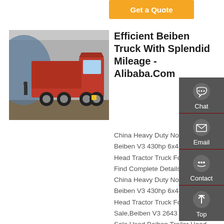[Figure (other): Orange 'Get a Quote' button at top center]
[Figure (photo): Red dump truck (Beiben/HOWO style) parked in a yard, side/front view]
Efficient Beiben Truck With Splendid Mileage - Alibaba.Com
China Heavy Duty North Benz Beiben V3 430hp 6x4 Trailer Head Tractor Truck For Sale, Find Complete Details about China Heavy Duty North Benz Beiben V3 430hp 6x4 Trailer Head Tractor Truck For Sale,Beiben V3 2643 Truck For Sale,Used Beiben Trailer Head
[Figure (other): Dark grey sidebar with Chat, Email, Contact, and Top navigation icons]